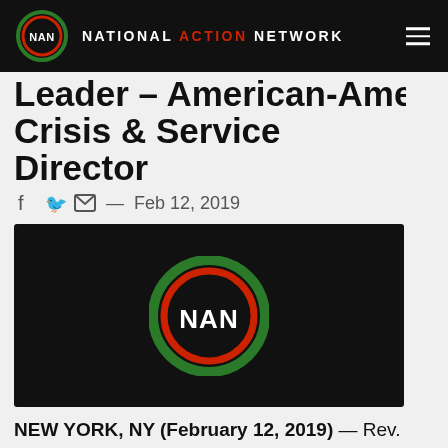NATIONAL ACTION NETWORK
Crisis & Service Director
Feb 12, 2019
[Figure (logo): National Action Network (NAN) logo — white NAN text inside green and red concentric circles on black background]
NEW YORK, NY (February 12, 2019) — Rev. Al Sharpton today announced that Rev. Steffie Bartley, the senior pastor of